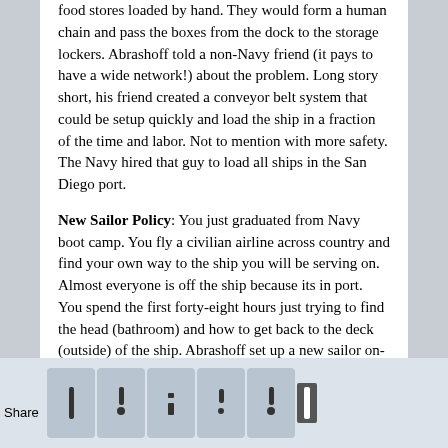food stores loaded by hand. They would form a human chain and pass the boxes from the dock to the storage lockers. Abrashoff told a non-Navy friend (it pays to have a wide network!) about the problem. Long story short, his friend created a conveyor belt system that could be setup quickly and load the ship in a fraction of the time and labor. Not to mention with more safety. The Navy hired that guy to load all ships in the San Diego port.
New Sailor Policy: You just graduated from Navy boot camp. You fly a civilian airline across country and find your own way to the ship you will be serving on. Almost everyone is off the ship because its in port. You spend the first forty-eight hours just trying to find the head (bathroom) and how to get back to the deck (outside) of the ship. Abrashoff set up a new sailor on-boarding process that greatly improved morale and new hire ramp up speed. The process was copied by other ships and I wouldn't be surprised if its not SOP for the Navy now.
You can change the world.
Yes you. The perfect man on the r. You si